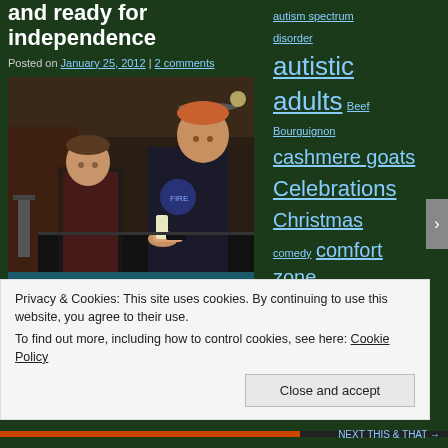and ready for independence
Posted on January 25, 2012 | 2 comments
[Figure (photo): Two young men in a kitchen or activity room, one in a black sweatshirt appearing to cook or work with items on a counter, ceiling fan visible in background]
Andrew and Danny. Click the image...
autism spectrum disorder
autistic adults
Beef Bourguignon
cashmere goats
Celebrations
Christmas
comedy
comfort zone
community
congregate
cooking
crocheting
department of public welfare
Easter
Privacy & Cookies: This site uses cookies. By continuing to use this website, you agree to their use. To find out more, including how to control cookies, see here: Cookie Policy
Close and accept